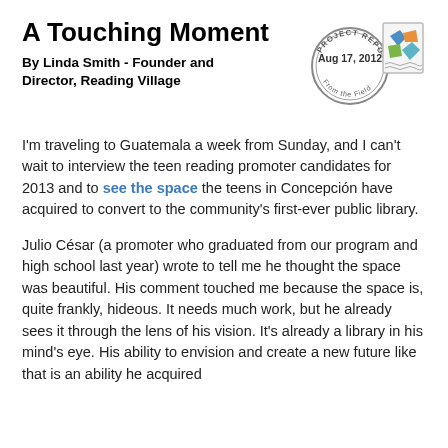A Touching Moment
By Linda Smith - Founder and Director, Reading Village
[Figure (illustration): Project Report From the Field stamp with Aug 17, 2012 date, circular rubber stamp style, with a colorful postage stamp illustration beside it featuring puzzle piece shapes in blue, orange, green colors]
I'm traveling to Guatemala a week from Sunday, and I can't wait to interview the teen reading promoter candidates for 2013 and to see the space the teens in Concepción have acquired to convert to the community's first-ever public library.
Julio César (a promoter who graduated from our program and high school last year) wrote to tell me he thought the space was beautiful. His comment touched me because the space is, quite frankly, hideous. It needs much work, but he already sees it through the lens of his vision. It's already a library in his mind's eye. His ability to envision and create a new future like that is an ability he acquired